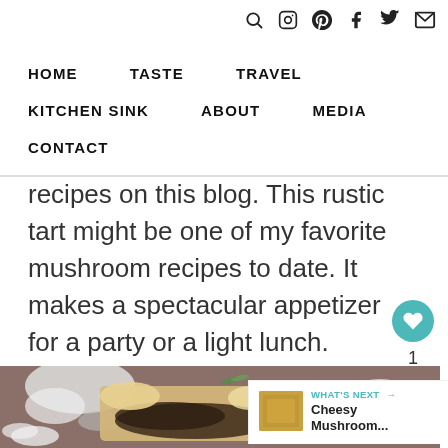🔍 📷 Pinterest Facebook Twitter ✉
HOME   TASTE   TRAVEL   KITCHEN SINK   ABOUT   MEDIA   CONTACT
recipes on this blog. This rustic tart might be one of my favorite mushroom recipes to date. It makes a spectacular appetizer for a party or a light lunch.
[Figure (photo): Close-up photo of mushroom tart with sliced mushrooms, herbs and pastry on a wooden board, with whole mushrooms in the background]
WHAT'S NEXT → Cheesy Mushroom...